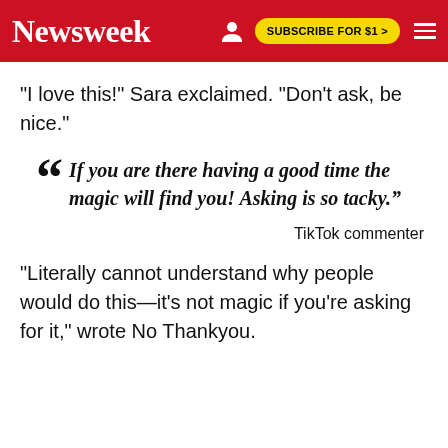Newsweek | SUBSCRIBE FOR $1 >
"I love this!" Sara exclaimed. "Don't ask, be nice."
If you are there having a good time the magic will find you! Asking is so tacky.
TikTok commenter
"Literally cannot understand why people would do this—it's not magic if you're asking for it," wrote No Thankyou.